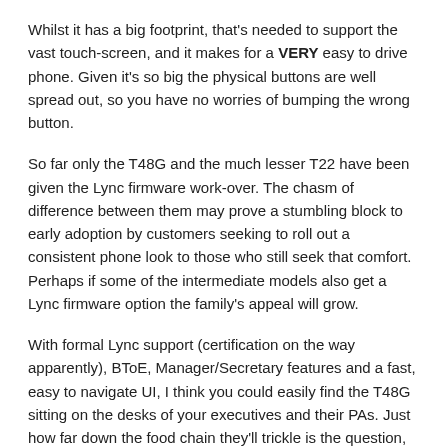Whilst it has a big footprint, that's needed to support the vast touch-screen, and it makes for a VERY easy to drive phone. Given it's so big the physical buttons are well spread out, so you have no worries of bumping the wrong button.
So far only the T48G and the much lesser T22 have been given the Lync firmware work-over. The chasm of difference between them may prove a stumbling block to early adoption by customers seeking to roll out a consistent phone look to those who still seek that comfort. Perhaps if some of the intermediate models also get a Lync firmware option the family's appeal will grow.
With formal Lync support (certification on the way apparently), BToE, Manager/Secretary features and a fast, easy to navigate UI, I think you could easily find the T48G sitting on the desks of your executives and their PAs. Just how far down the food chain they'll trickle is the question, but if the lower models can perform at a similar level and Yealink's serious about the Lync and Skype for Business market, we might have an interesting new player on the pitch.
My review handset came courtesy of Yealink, and as always I have Rocky to thank for the photos (although I think the fingerprints on the screen are mine).